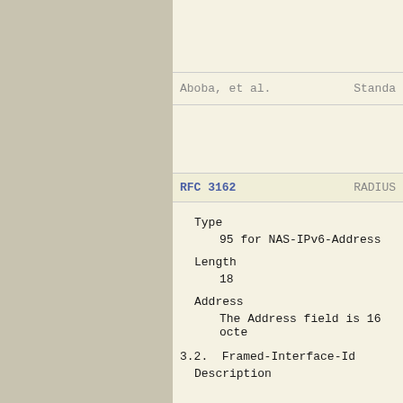Aboba, et al.    Standa
RFC 3162    RADIUS
Type
95 for NAS-IPv6-Address
Length
18
Address
The Address field is 16 octe
3.2.  Framed-Interface-Id
Description